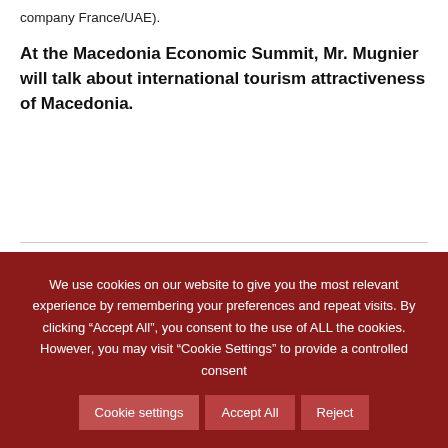company France/UAE).
At the Macedonia Economic Summit, Mr. Mugnier will talk about international tourism attractiveness of Macedonia.
We use cookies on our website to give you the most relevant experience by remembering your preferences and repeat visits. By clicking “Accept All”, you consent to the use of ALL the cookies. However, you may visit "Cookie Settings" to provide a controlled consent